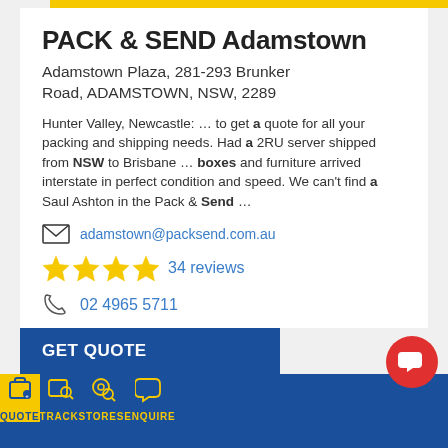PACK & SEND Adamstown
Adamstown Plaza, 281-293 Brunker Road, ADAMSTOWN, NSW, 2289
Hunter Valley, Newcastle: … to get a quote for all your packing and shipping needs. Had a 2RU server shipped from NSW to Brisbane … boxes and furniture arrived interstate in perfect condition and speed. We can't find a Saul Ashton in the Pack & Send …
adamstown@packsend.com.au
34 reviews
02 4965 5711
GET QUOTE
QUOTE  TRACK  STORES  ENQUIRE